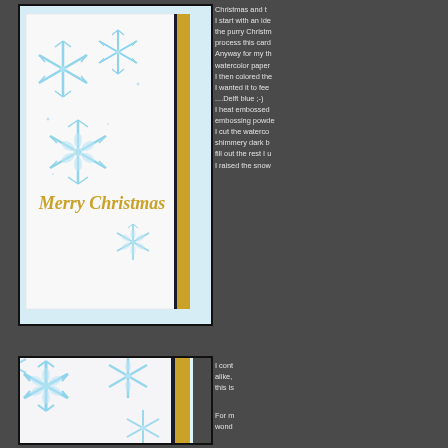[Figure (photo): A handmade Christmas card featuring blue watercolor snowflakes and gold glitter 'Merry Christmas' script on white card stock, with a gold glitter border strip on the right side, photographed against a light blue background.]
Christmas and t... I start with an ide... the purry Christm... process this card... Anyway for my th... watercolor paper... I then colored the... I wanted it to fee... ....Delft blue ;-) I heat embossed... embossing powde... I cut the waterco... shimmery dark b... fill out the rest I u... I raised the snow...
[Figure (photo): Close-up detail of the Christmas card showing large blue watercolor snowflakes on white card stock with a gold glitter and dark navy border strip visible on the right edge.]
I cont... alike,... this is...
For m... wond...